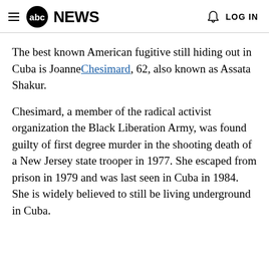abc NEWS  LOG IN
The best known American fugitive still hiding out in Cuba is Joanne Chesimard, 62, also known as Assata Shakur.
Chesimard, a member of the radical activist organization the Black Liberation Army, was found guilty of first degree murder in the shooting death of a New Jersey state trooper in 1977. She escaped from prison in 1979 and was last seen in Cuba in 1984. She is widely believed to still be living underground in Cuba.